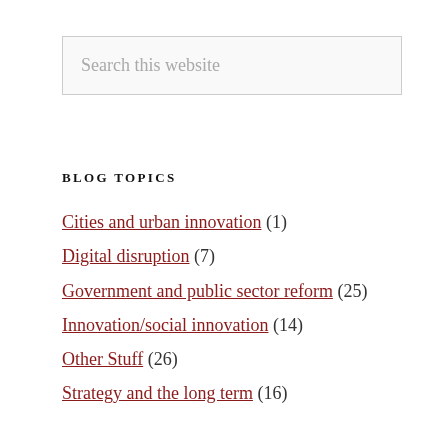Search this website
BLOG TOPICS
Cities and urban innovation (1)
Digital disruption (7)
Government and public sector reform (25)
Innovation/social innovation (14)
Other Stuff (26)
Strategy and the long term (16)